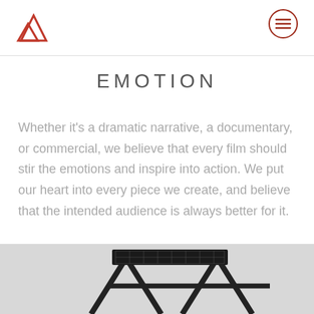EMOTION
Whether it's a dramatic narrative, a documentary, or commercial, we believe that every film should stir the emotions and inspire into action. We put our heart into every piece we create, and believe that the intended audience is always better for it.
[Figure (photo): Black and white photo of a film director's chair or equipment, partially visible at the bottom of the page]